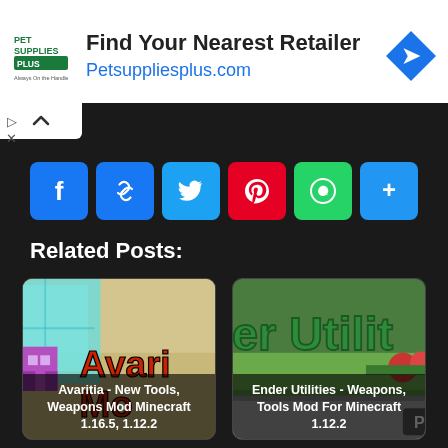[Figure (infographic): Pet Supplies Plus advertisement banner: logo on left, 'Find Your Nearest Retailer' headline, 'Petsuppliesplus.com' URL in blue, navigation arrow icon on right]
[Figure (infographic): Social share buttons row: Facebook, Link/Copy, Twitter, Pinterest, WhatsApp, More (+)]
Related Posts:
[Figure (photo): Avaritia - New Tools, Weapons Mod Minecraft 1.16.5, 1.12.2 — game mod thumbnail showing diamond block and pixel art character with red text overlay]
[Figure (photo): Ender Utilities - Weapons, Tools Mod For Minecraft 1.12.2 — game mod thumbnail showing green text 'der Utilit' on grassy scene]